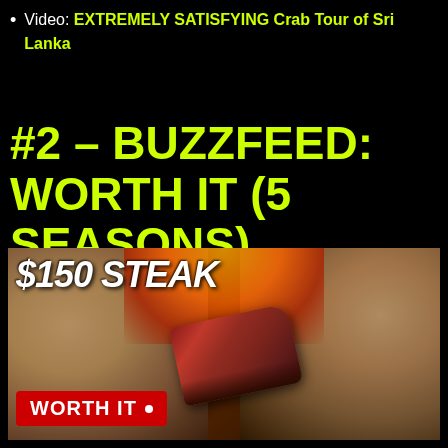Video: EXTREMELY SATISFYING Crab Tour of Sri Lanka
#2 – BUZZFEED: WORTH IT (5 SEASONS)
[Figure (photo): Video thumbnail for BuzzFeed Worth It showing two men facing each other with a steak in the center, fire glow in background, text '$150 STEAK' at top, 'WORTH IT' badge at bottom left]